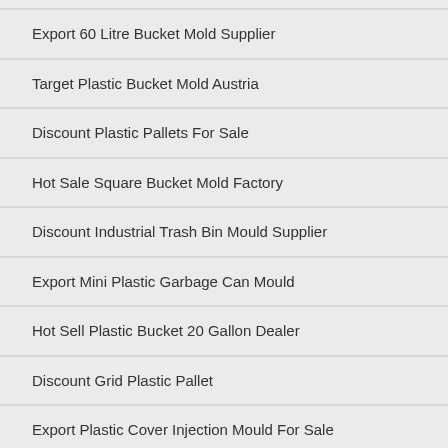Export 60 Litre Bucket Mold Supplier
Target Plastic Bucket Mold Austria
Discount Plastic Pallets For Sale
Hot Sale Square Bucket Mold Factory
Discount Industrial Trash Bin Mould Supplier
Export Mini Plastic Garbage Can Mould
Hot Sell Plastic Bucket 20 Gallon Dealer
Discount Grid Plastic Pallet
Export Plastic Cover Injection Mould For Sale